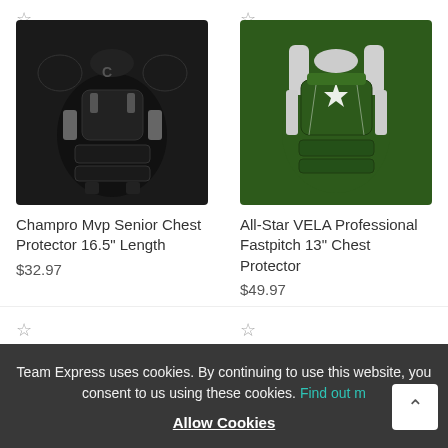[Figure (photo): Champro MVP Senior Chest Protector in black color, shown front view]
[Figure (photo): All-Star VELA Professional Fastpitch 13 inch Chest Protector in dark green and white]
Champro Mvp Senior Chest Protector 16.5" Length
$32.97
All-Star VELA Professional Fastpitch 13" Chest Protector
$49.97
Team Express uses cookies. By continuing to use this website, you consent to us using these cookies. Find out more
Allow Cookies